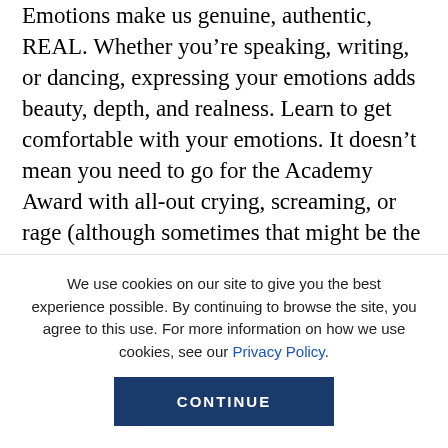Emotions make us genuine, authentic, REAL. Whether you're speaking, writing, or dancing, expressing your emotions adds beauty, depth, and realness. Learn to get comfortable with your emotions. It doesn't mean you need to go for the Academy Award with all-out crying, screaming, or rage (although sometimes that might be the case and it's okay, too). Emotions release energy. Working with a coach for the first time last year, I was in full-out ugly cry sobbing within 7 minutes of our first conversation! I didn't even know it was in me! After, I felt transformed. I got it out and it was...
We use cookies on our site to give you the best experience possible. By continuing to browse the site, you agree to this use. For more information on how we use cookies, see our Privacy Policy.
CONTINUE